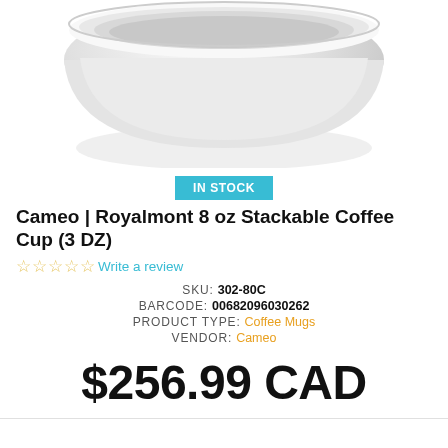[Figure (photo): Product photo of a white stackable coffee cup/bowl, viewed from above at an angle, showing the rim and interior against a white background. Only the top portion of the cup is visible.]
IN STOCK
Cameo | Royalmont 8 oz Stackable Coffee Cup (3 DZ)
☆☆☆☆☆ Write a review
SKU: 302-80C
BARCODE: 00682096030262
PRODUCT TYPE: Coffee Mugs
VENDOR: Cameo
$256.99 CAD